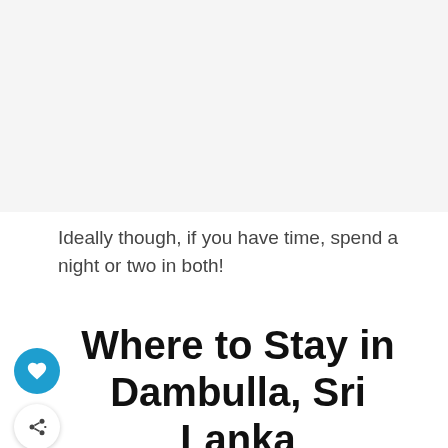Ideally though, if you have time, spend a night or two in both!
Where to Stay in Dambulla, Sri Lanka
[Figure (photo): Aerial view of a luxury resort in Dambulla, Sri Lanka, featuring an infinity pool in the foreground, lush green lawns, tropical trees, a lake, and mountains in the background under a blue sky with clouds. Modern white hotel building visible on the right. Two circular UI buttons (heart/favorite and share) overlay the left edge of the photo.]